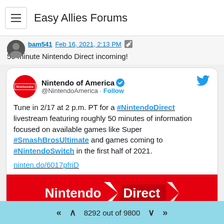Easy Allies Forums
bam541 Feb 16, 2021, 2:13 PM
50 minute Nintendo Direct incoming!
[Figure (screenshot): Embedded tweet from Nintendo of America (@NintendoAmerica) with Follow button and Twitter bird logo. Tweet reads: 'Tune in 2/17 at 2 p.m. PT for a #NintendoDirect livestream featuring roughly 50 minutes of information focused on available games like Super #SmashBrosUltimate and games coming to #NintendoSwitch in the first half of 2021. ninten.do/6017pfriD'. A Nintendo Direct promotional banner image (red background with white Nintendo Direct text and arrow logo) is partially visible at the bottom of the tweet.]
8292 out of 9800